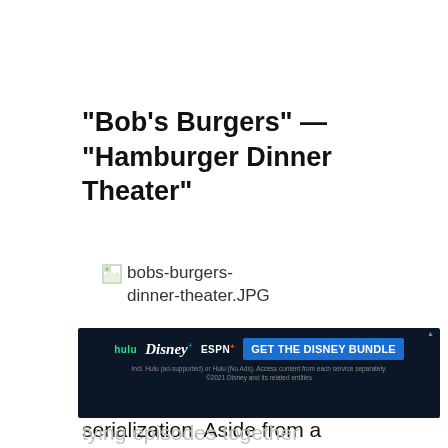“Bob’s Burgers” — “Hamburger Dinner Theater”
[Figure (photo): Broken/missing image placeholder with filename bobs-burgers-dinner-theater.JPG]
“Bob’s Burgers” feels like a throwback for its lack of serialization. Aside from a few supporting characters tying episodes together
[Figure (infographic): Disney Bundle advertisement banner: Hulu, Disney+, ESPN+ logos with GET THE DISNEY BUNDLE call to action. Fine print: Incl. Hulu (ad-supported) or Hulu (No Ads). Access content from each service separately. ©2021 Disney and its related entities]